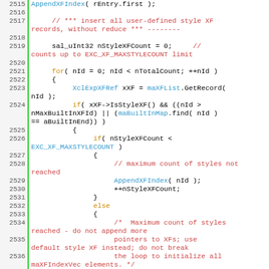[Figure (screenshot): Source code listing in C++ with line numbers 2515-2538, showing code for inserting user-defined style XF records with style count logic]